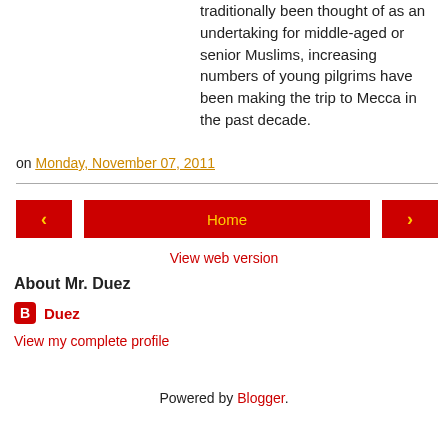traditionally been thought of as an undertaking for middle-aged or senior Muslims, increasing numbers of young pilgrims have been making the trip to Mecca in the past decade.
on Monday, November 07, 2011
Home
View web version
About Mr. Duez
Duez
View my complete profile
Powered by Blogger.